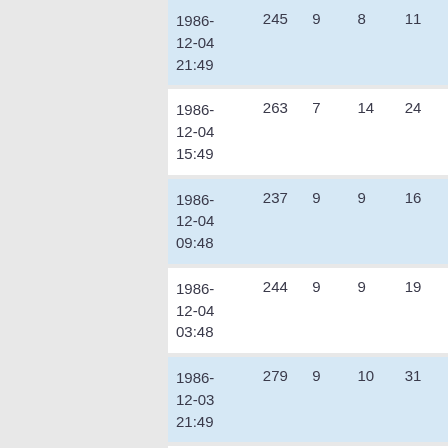| 1986-12-04 21:49 | 245 | 9 | 8 | 11 |
| 1986-12-04 15:49 | 263 | 7 | 14 | 24 |
| 1986-12-04 09:48 | 237 | 9 | 9 | 16 |
| 1986-12-04 03:48 | 244 | 9 | 9 | 19 |
| 1986-12-03 21:49 | 279 | 9 | 10 | 31 |
| 1986-12-03 15:47 | 310 | 7 | 12 | 26 |